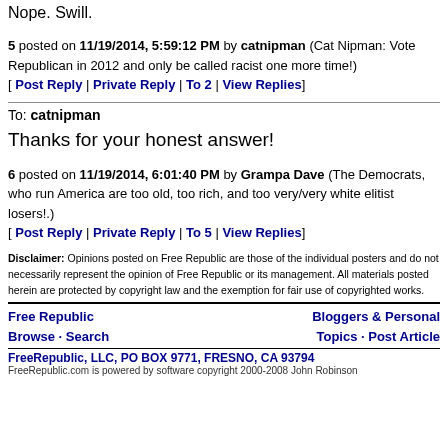Nope. Swill.
5 posted on 11/19/2014, 5:59:12 PM by catnipman (Cat Nipman: Vote Republican in 2012 and only be called racist one more time!)
[ Post Reply | Private Reply | To 2 | View Replies]
To: catnipman
Thanks for your honest answer!
6 posted on 11/19/2014, 6:01:40 PM by Grampa Dave (The Democrats, who run America are too old, too rich, and too very/very white elitist losers!.)
[ Post Reply | Private Reply | To 5 | View Replies]
Disclaimer: Opinions posted on Free Republic are those of the individual posters and do not necessarily represent the opinion of Free Republic or its management. All materials posted herein are protected by copyright law and the exemption for fair use of copyrighted works.
Free Republic Browse · Search Bloggers & Personal Topics · Post Article FreeRepublic, LLC, PO BOX 9771, FRESNO, CA 93794 FreeRepublic.com is powered by software copyright 2000-2008 John Robinson